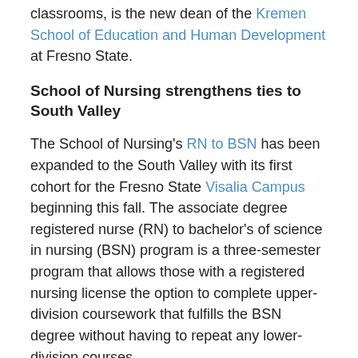classrooms, is the new dean of the Kremen School of Education and Human Development at Fresno State.
School of Nursing strengthens ties to South Valley
The School of Nursing's RN to BSN has been expanded to the South Valley with its first cohort for the Fresno State Visalia Campus beginning this fall. The associate degree registered nurse (RN) to bachelor's of science in nursing (BSN) program is a three-semester program that allows those with a registered nursing license the option to complete upper-division coursework that fulfills the BSN degree without having to repeat any lower-division courses.
Offering the two on-site courses at the Fresno State Visalia Campus is an effort to not only grow the RN to BSN  program in the region, but to give South Valley students an option to complete the two courses on site rather than online, if preferred. The upper-division curriculum builds upon leadership skills, research methodologies and community-health exploration.